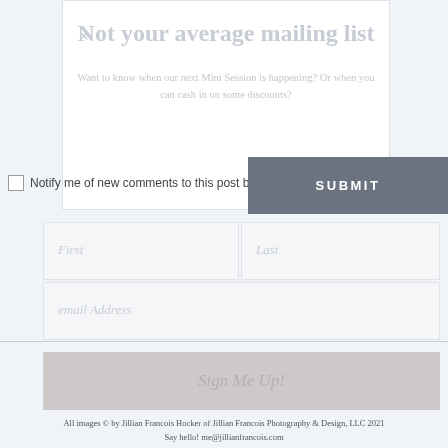[Figure (screenshot): White modal card overlay with faded title 'Not your average mailing list' and body text about Mini Sessions and discounts, with a close X button]
Not your average mailing list
Want to know when our next Mini Session is happening? Or when you can cash in on some discounts?
Notify me of new comments to this post by email
SUBMIT
First
Last
email Address
Sign Me Up!
All images © by Jillian Francois Hocker of Jillian Francois Photography & Design, LLC 2021
Say hello! me@jillianfrancois.com